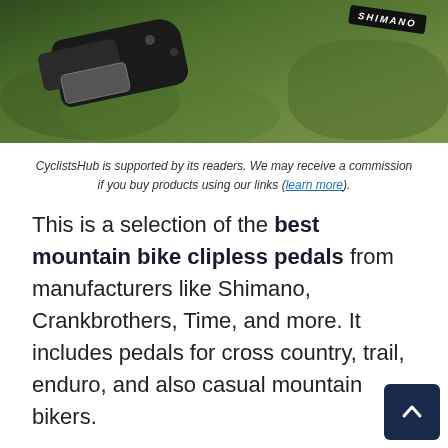[Figure (photo): Close-up photo of a Shimano clipless mountain bike pedal on a grass background, cropped at the top of the page]
CyclistsHub is supported by its readers. We may receive a commission if you buy products using our links (learn more).
This is a selection of the best mountain bike clipless pedals from manufacturers like Shimano, Crankbrothers, Time, and more. It includes pedals for cross country, trail, enduro, and also casual mountain bikers.
I spent more than 9 hours researching this topic – I talked to friends who ride mountain bikes, evaluated customer reviews, and read forum threads to save your time.